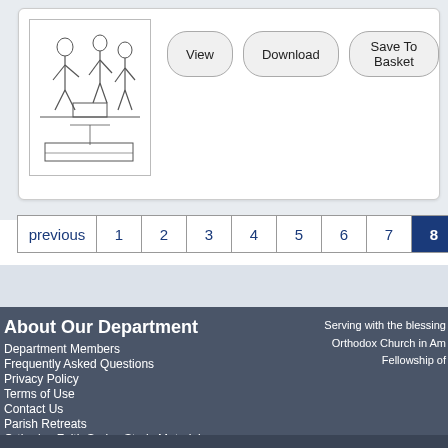[Figure (illustration): Line drawing illustration of figures, appears to be a religious scene]
View   Download   Save To Basket
previous  1  2  3  4  5  6  7  8  9  next
About Our Department
Department Members
Frequently Asked Questions
Privacy Policy
Terms of Use
Contact Us
Parish Retreats
Orthodox Faith Series Study Materials
Serving with the blessing of the Orthodox Church in America and the Fellowship of...